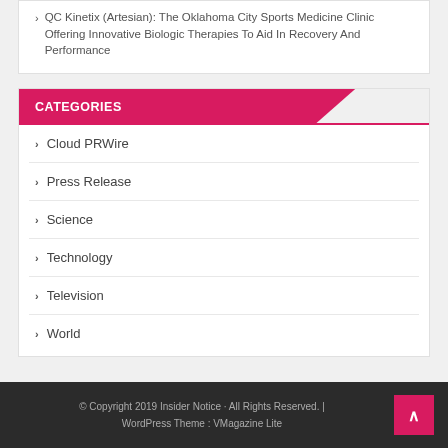QC Kinetix (Artesian): The Oklahoma City Sports Medicine Clinic Offering Innovative Biologic Therapies To Aid In Recovery And Performance
CATEGORIES
Cloud PRWire
Press Release
Science
Technology
Television
World
© Copyright 2019 Insider Notice · All Rights Reserved. | WordPress Theme : VMagazine Lite